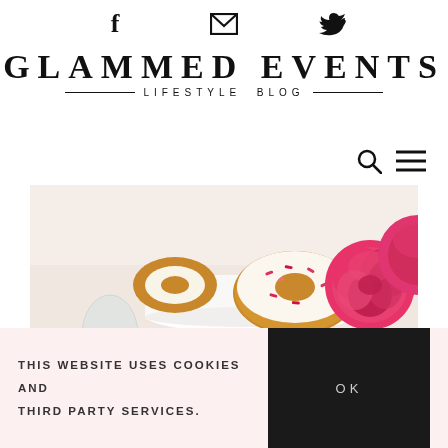[Figure (logo): Social media icons row: Facebook (f), email envelope, Twitter bird]
GLAMMED EVENTS
LIFESTYLE BLOG
[Figure (other): Navigation icons: search (magnifying glass) and hamburger menu]
[Figure (photo): Hero photo of white-iced donuts with pink and red sprinkles on a white cake stand, with bright pink roses on the right side, on a white surface]
THIS WEBSITE USES COOKIES AND THIRD PARTY SERVICES.
OK